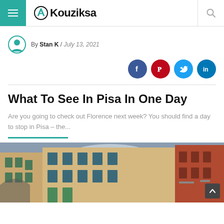Kouziksa
By Stan K / July 13, 2021
[Figure (infographic): Social share buttons: Facebook, Pinterest, Twitter, LinkedIn]
What To See In Pisa In One Day
Are you going to check out Florence next week? You should find a day to stop in Pisa – the...
[Figure (photo): Street view of Pisa with colorful historic buildings under a cloudy sky]